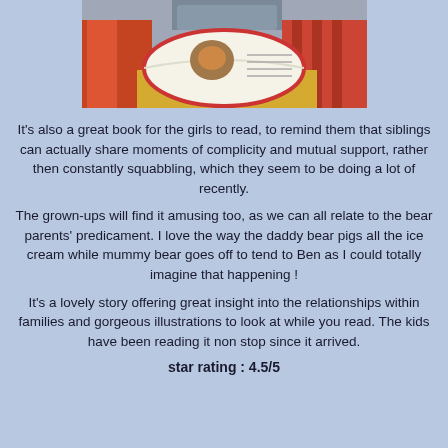[Figure (photo): A child or person looking at an open book with colorful illustrations, on a bed with striped fabric and red/orange cloth nearby]
It's also a great book for the girls to read, to remind them that siblings can actually share moments of complicity and mutual support, rather then constantly squabbling, which they seem to be doing a lot of recently.
The grown-ups will find it amusing too, as we can all relate to the bear parents' predicament. I love the way the daddy bear pigs all the ice cream while mummy bear goes off to tend to Ben as I could totally imagine that happening !
It's a lovely story offering great insight into the relationships within families and gorgeous illustrations to look at while you read. The kids have been reading it non stop since it arrived.
star rating : 4.5/5